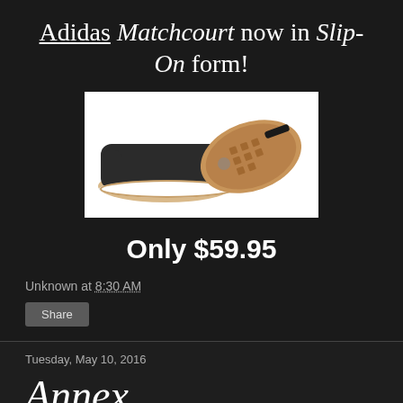Adidas Matchcourt now in Slip-On form!
[Figure (photo): Product photo of Adidas Matchcourt Slip-On shoes — two black canvas slip-on sneakers shown from the side and bottom, displaying the gum rubber sole pattern, on a white background.]
Only $59.95
Unknown at 8:30 AM
Share
Tuesday, May 10, 2016
Annex
Annex decks now available at the